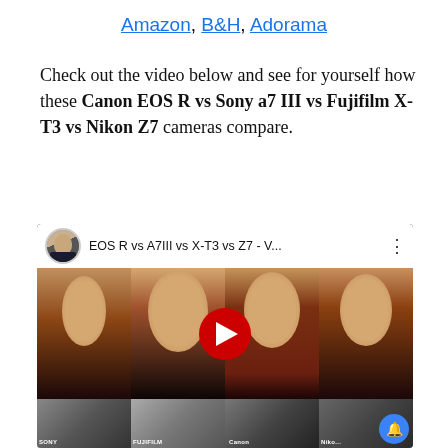Amazon, B&H, Adorama
Check out the video below and see for yourself how these Canon EOS R vs Sony a7 III vs Fujifilm X-T3 vs Nikon Z7 cameras compare.
[Figure (screenshot): YouTube video embed showing 'EOS R vs A7III vs X-T3 vs Z7 - V...' with four portrait comparison panels side-by-side and a red play button in the center, with camera thumbnails at the bottom]